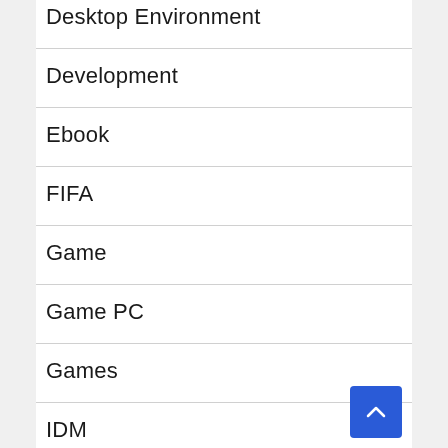Desktop Environment
Development
Ebook
FIFA
Game
Game PC
Games
IDM
Internet